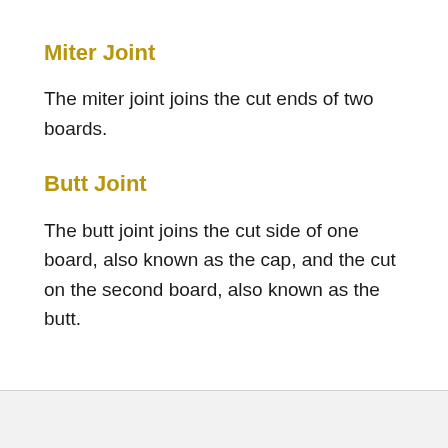Miter Joint
The miter joint joins the cut ends of two boards.
Butt Joint
The butt joint joins the cut side of one board, also known as the cap, and the cut on the second board, also known as the butt.